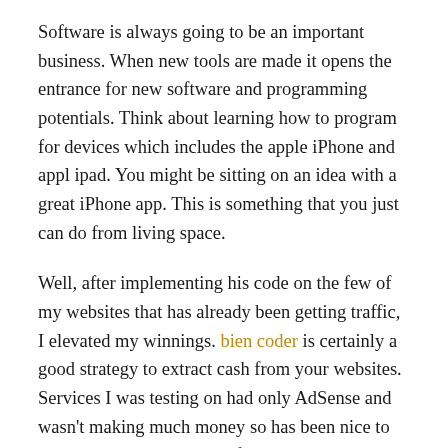Software is always going to be an important business. When new tools are made it opens the entrance for new software and programming potentials. Think about learning how to program for devices which includes the apple iPhone and appl ipad. You might be sitting on an idea with a great iPhone app. This is something that you just can do from living space.
Well, after implementing his code on the few of my websites that has already been getting traffic, I elevated my winnings. bien coder is certainly a good strategy to extract cash from your websites. Services I was testing on had only AdSense and wasn't making much money so has been nice to see an improvement in profits with only a matter of minutes work. Without giving away what the covert code was, I must say the idea was unique and employees people knew